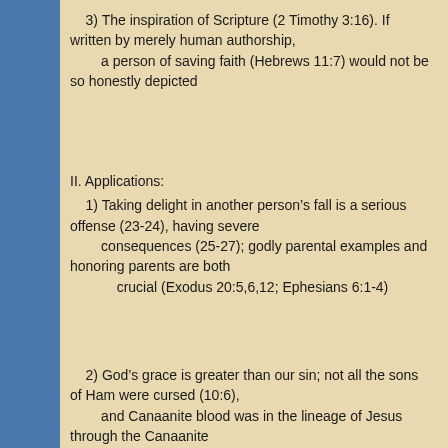3) The inspiration of Scripture (2 Timothy 3:16). If written by merely human authorship, a person of saving faith (Hebrews 11:7) would not be so honestly depicted
II. Applications:
1) Taking delight in another person’s fall is a serious offense (23-24), having severe consequences (25-27); godly parental examples and honoring parents are both crucial (Exodus 20:5,6,12; Ephesians 6:1-4)
2) God’s grace is greater than our sin; not all the sons of Ham were cursed (10:6), and Canaanite blood was in the lineage of Jesus through the Canaanite prostitute, Rahab (Matthew 1:5)